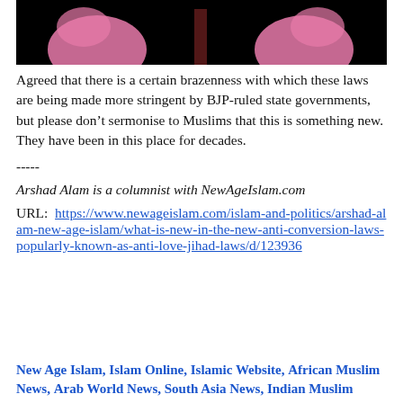[Figure (illustration): Partial illustration on black background showing pink cartoon figures/hands]
Agreed that there is a certain brazenness with which these laws are being made more stringent by BJP-ruled state governments, but please don’t sermonise to Muslims that this is something new. They have been in this place for decades.
-----
Arshad Alam is a columnist with NewAgeIslam.com
URL:  https://www.newageislam.com/islam-and-politics/arshad-alam-new-age-islam/what-is-new-in-the-new-anti-conversion-laws-popularly-known-as-anti-love-jihad-laws/d/123936
New Age Islam, Islam Online, Islamic Website, African Muslim News, Arab World News, South Asia News, Indian Muslim